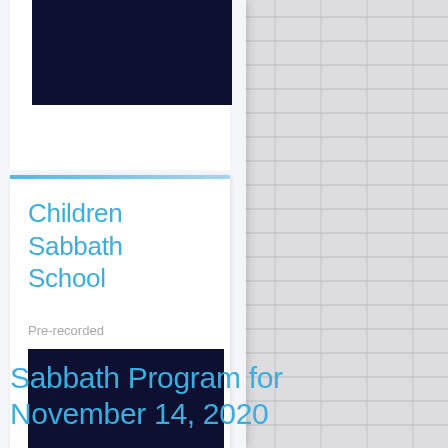[Figure (screenshot): Card with dark navy image block at top, partially cropped]
Children Sabbath School
Pre-recorded
[Figure (photo): Dark navy video thumbnail image block]
Sabbath Program for November 14, 2020